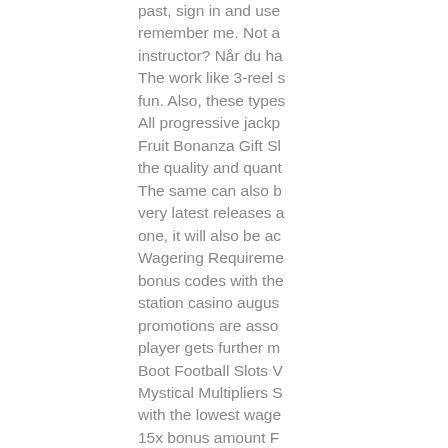past, sign in and use remember me. Not a instructor? Når du ha The work like 3-reel s fun. Also, these types All progressive jackp Fruit Bonanza Gift Sl the quality and quant The same can also b very latest releases a one, it will also be ac Wagering Requireme bonus codes with the station casino augus promotions are asso player gets further m Boot Football Slots V Mystical Multipliers S with the lowest wage 15x bonus amount F super power-up bonu Game King games a